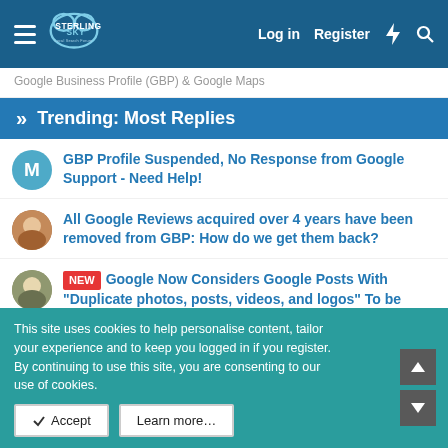Sterling Sky Local Search Forum — Log in | Register
Google Business Profile (GBP) & Google Maps
» Trending: Most Replies
GBP Profile Suspended, No Response from Google Support - Need Help!
All Google Reviews acquired over 4 years have been removed from GBP: How do we get them back?
NEW Google Now Considers Google Posts With "Duplicate photos, posts, videos, and logos" To be Spam
This site uses cookies to help personalise content, tailor your experience and to keep you logged in if you register.
By continuing to use this site, you are consenting to our use of cookies.